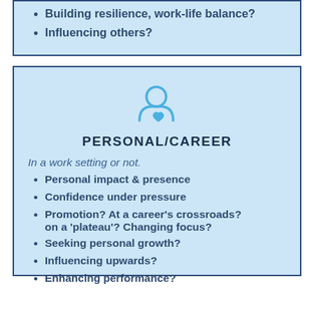Building resilience, work-life balance?
Influencing others?
[Figure (illustration): Person silhouette with heart icon, representing personal/career category]
PERSONAL/CAREER
In a work setting or not.
Personal impact & presence
Confidence under pressure
Promotion? At a career's crossroads? on a 'plateau'? Changing focus?
Seeking personal growth?
Influencing upwards?
Enhancing performance?